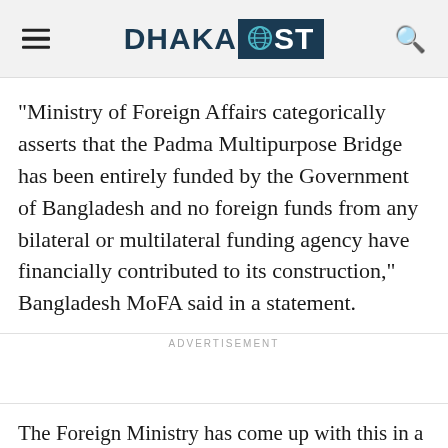DHAKA POST
"Ministry of Foreign Affairs categorically asserts that the Padma Multipurpose Bridge has been entirely funded by the Government of Bangladesh and no foreign funds from any bilateral or multilateral funding agency have financially contributed to its construction," Bangladesh MoFA said in a statement.
ADVERTISEMENT
The Foreign Ministry has come up with this in a press statement after noticing that some